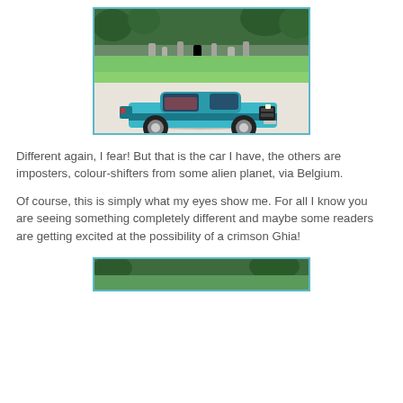[Figure (photo): A teal/turquoise die-cast toy car model photographed outdoors on a light surface, with green grass and standing stones visible in the background. The car is oriented facing right toward the camera at a slight angle.]
Different again, I fear! But that is the car I have, the others are imposters, colour-shifters from some alien planet, via Belgium.
Of course, this is simply what my eyes show me. For all I know you are seeing something completely different and maybe some readers are getting excited at the possibility of a crimson Ghia!
[Figure (photo): Partial view of another outdoor photo of what appears to be a similar toy car, cropped at the bottom of the page.]